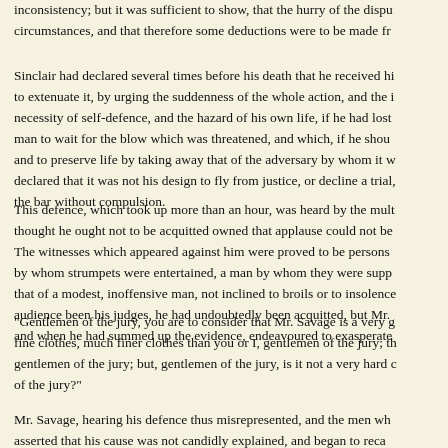inconsistency; but it was sufficient to show, that the hurry of the dispu circumstances, and that therefore some deductions were to be made fr
Sinclair had declared several times before his death that he received hi to extenuate it, by urging the suddenness of the whole action, and the i necessity of self-defence, and the hazard of his own life, if he had lost man to wait for the blow which was threatened, and which, if he shou and to preserve life by taking away that of the adversary by whom it w declared that it was not his design to fly from justice, or decline a trial, the bar without compulsion.
This defence, which took up more than an hour, was heard by the mult thought he ought not to be acquitted owned that applause could not be The witnesses which appeared against him were proved to be persons by whom strumpets were entertained, a man by whom they were supp that of a modest, inoffensive man, not inclined to broils or to insolence audience been his judges, he had undoubtedly been acquitted, but Mr. and when he had summed up the evidence, endeavoured to exasperate
"Gentlemen of the jury, you are to consider that Mr. Savage is a very g fine clothes, much finer clothes than you or I, gentlemen of the jury; th gentlemen of the jury; but, gentlemen of the jury, is it not a very hard c of the jury?"
Mr. Savage, hearing his defence thus misrepresented, and the men wh asserted that his cause was not candidly explained, and began to reca